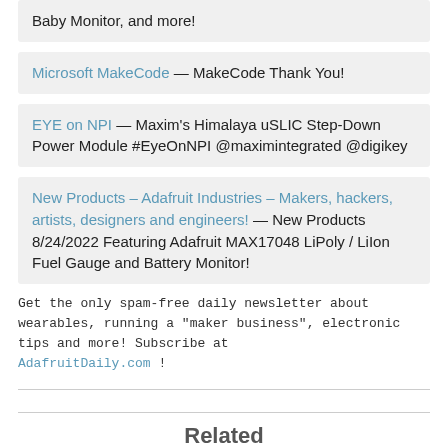Baby Monitor, and more!
Microsoft MakeCode — MakeCode Thank You!
EYE on NPI — Maxim's Himalaya uSLIC Step-Down Power Module #EyeOnNPI @maximintegrated @digikey
New Products – Adafruit Industries – Makers, hackers, artists, designers and engineers! — New Products 8/24/2022 Featuring Adafruit MAX17048 LiPoly / LiIon Fuel Gauge and Battery Monitor!
Get the only spam-free daily newsletter about wearables, running a "maker business", electronic tips and more! Subscribe at AdafruitDaily.com !
Related